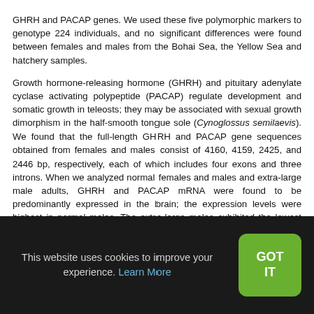GHRH and PACAP genes. We used these five polymorphic markers to genotype 224 individuals, and no significant differences were found between females and males from the Bohai Sea, the Yellow Sea and hatchery samples. Growth hormone-releasing hormone (GHRH) and pituitary adenylate cyclase activating polypeptide (PACAP) regulate development and somatic growth in teleosts; they may be associated with sexual growth dimorphism in the half-smooth tongue sole (Cynoglossus semilaevis). We found that the full-length GHRH and PACAP gene sequences obtained from females and males consist of 4160, 4159, 2425, and 2446 bp, respectively, each of which includes four exons and three introns. When we analyzed normal females and males and extra-large male adults, GHRH and PACAP mRNA were found to be predominantly expressed in the brain; the expression levels were highest in normal males. The extra-large males exhibited the lowest mRNA
This website uses cookies to improve your experience. Learn More